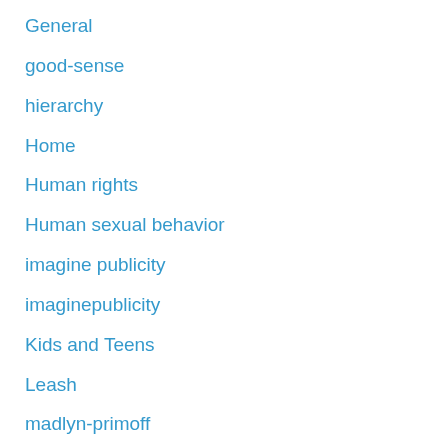General
good-sense
hierarchy
Home
Human rights
Human sexual behavior
imagine publicity
imaginepublicity
Kids and Teens
Leash
madlyn-primoff
Mental disorder
Mental Health
Mood